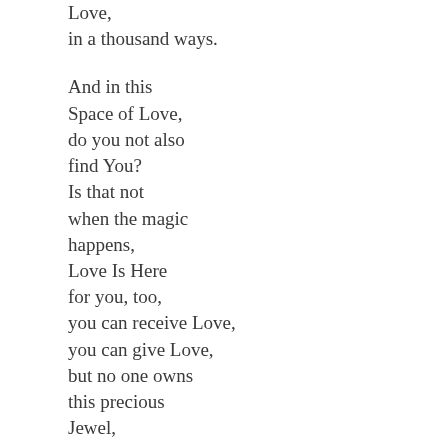Love,
in a thousand ways.

And in this
Space of Love,
do you not also
find You?
Is that not
when the magic
happens,
Love Is Here
for you, too,
you can receive Love,
you can give Love,
but no one owns
this precious
Jewel,
Love Is Here
for All –